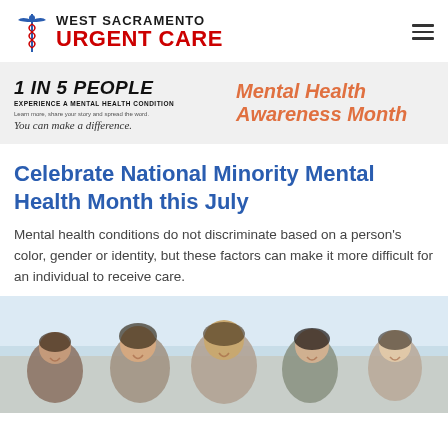WEST SACRAMENTO URGENT CARE
[Figure (infographic): Mental Health Awareness Month banner: '1 IN 5 PEOPLE EXPERIENCE A MENTAL HEALTH CONDITION. Learn more, share your story and spread the word. You can make a difference.' alongside 'Mental Health Awareness Month' in orange italic text on gray background.]
Celebrate National Minority Mental Health Month this July
Mental health conditions do not discriminate based on a person's color, gender or identity, but these factors can make it more difficult for an individual to receive care.
[Figure (photo): Group of young men laughing and smiling together outdoors, celebrating together.]